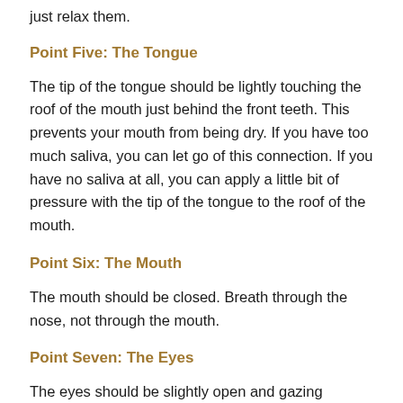just relax them.
Point Five: The Tongue
The tip of the tongue should be lightly touching the roof of the mouth just behind the front teeth. This prevents your mouth from being dry. If you have too much saliva, you can let go of this connection. If you have no saliva at all, you can apply a little bit of pressure with the tip of the tongue to the roof of the mouth.
Point Six: The Mouth
The mouth should be closed. Breath through the nose, not through the mouth.
Point Seven: The Eyes
The eyes should be slightly open and gazing downward at a forty five degree angle. Rest the eyes